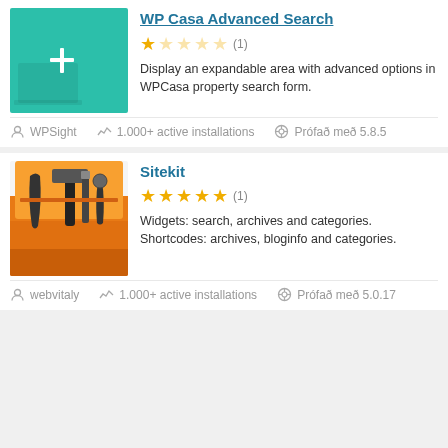[Figure (screenshot): Plugin listing card top section showing teal image with + icon, 1-star rating (1 review), and description about WPCasa Advanced Search]
Display an expandable area with advanced options in WPCasa property search form.
WPSight
1.000+ active installations
Prófað með 5.8.5
Sitekit
[Figure (photo): Photo of orange toolbox with hammer, wrench, and screwdrivers]
Widgets: search, archives and categories. Shortcodes: archives, bloginfo and categories.
webvitaly
1.000+ active installations
Prófað með 5.0.17